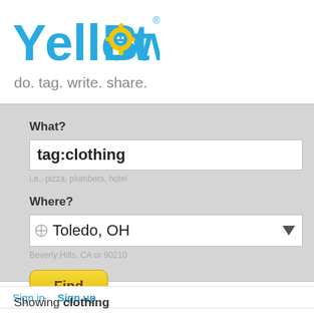[Figure (logo): YellowBot logo with yellow gear/bot icon and blue text]
do. tag. write. share.
[Figure (screenshot): Search panel with What? and Where? fields, tag:clothing entered in What, Toledo, OH in Where, and a Find button]
Sign in  Sign up
Showing clothing